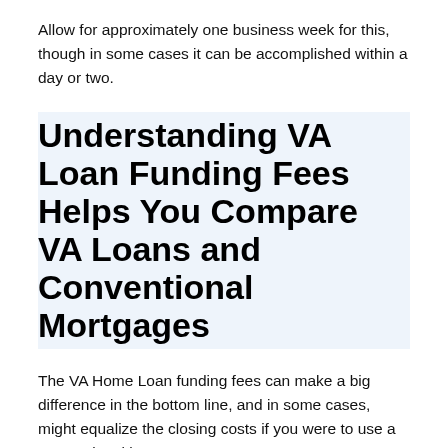Allow for approximately one business week for this, though in some cases it can be accomplished within a day or two.
Understanding VA Loan Funding Fees Helps You Compare VA Loans and Conventional Mortgages
The VA Home Loan funding fees can make a big difference in the bottom line, and in some cases, might equalize the closing costs if you were to use a conventional loan.
The best way to compare a VA Loan to a conventional